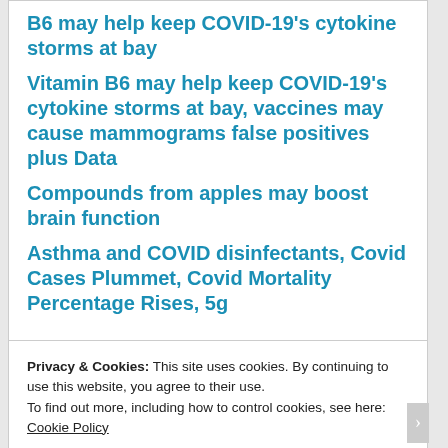B6 may help keep COVID-19's cytokine storms at bay
Vitamin B6 may help keep COVID-19's cytokine storms at bay, vaccines may cause mammograms false positives plus Data
Compounds from apples may boost brain function
Asthma and COVID disinfectants, Covid Cases Plummet, Covid Mortality Percentage Rises, 5g
Privacy & Cookies: This site uses cookies. By continuing to use this website, you agree to their use.
To find out more, including how to control cookies, see here: Cookie Policy
Close and accept